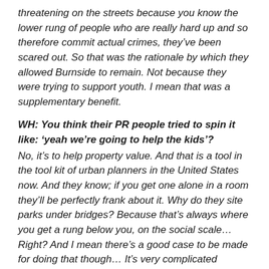threatening on the streets because you know the lower rung of people who are really hard up and so therefore commit actual crimes, they've been scared out. So that was the rationale by which they allowed Burnside to remain. Not because they were trying to support youth. I mean that was a supplementary benefit.
WH: You think their PR people tried to spin it like: 'yeah we're going to help the kids'?
No, it's to help property value. And that is a tool in the tool kit of urban planners in the United States now. And they know; if you get one alone in a room they'll be perfectly frank about it. Why do they site parks under bridges? Because that's always where you get a rung below you, on the social scale… Right? And I mean there's a good case to be made for doing that though… It's very complicated